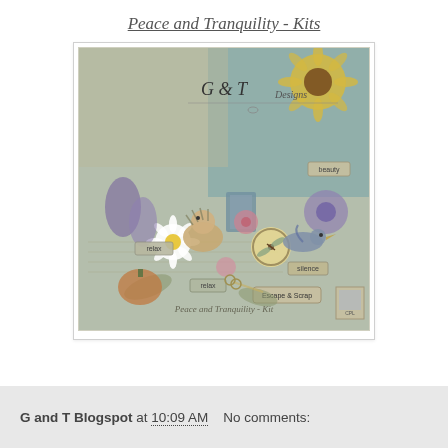Peace and Tranquility - Kits
[Figure (photo): Scrapbook digital kit preview image titled 'Peace and Tranquility - Kit' by G & T Designs, showing vintage-style elements including flowers, a hedgehog, a bird, a clock, botanical elements, tags with words like 'beauty', 'relax', 'silence', and 'Escape & Scrap' on a muted teal and cream background.]
G and T Blogspot at 10:09 AM   No comments: